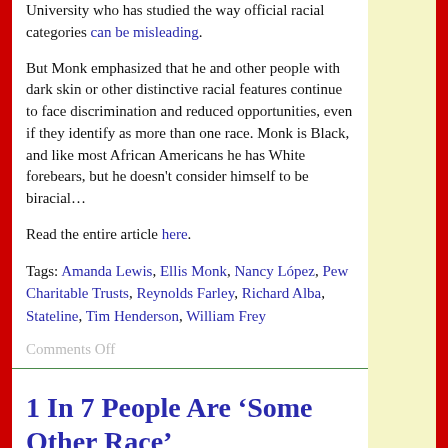University who has studied the way official racial categories can be misleading.
But Monk emphasized that he and other people with dark skin or other distinctive racial features continue to face discrimination and reduced opportunities, even if they identify as more than one race. Monk is Black, and like most African Americans he has White forebears, but he doesn't consider himself to be biracial…
Read the entire article here.
Tags: Amanda Lewis, Ellis Monk, Nancy López, Pew Charitable Trusts, Reynolds Farley, Richard Alba, Stateline, Tim Henderson, William Frey
Comments Off
1 In 7 People Are 'Some Other Race'